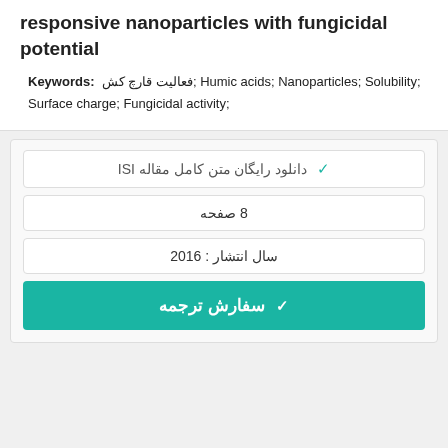responsive nanoparticles with fungicidal potential
Keywords: فعالیت قارچ کش; Humic acids; Nanoparticles; Solubility; Surface charge; Fungicidal activity;
✓ دانلود رایگان متن کامل مقاله ISI
8 صفحه
سال انتشار : 2016
✓ سفارش ترجمه